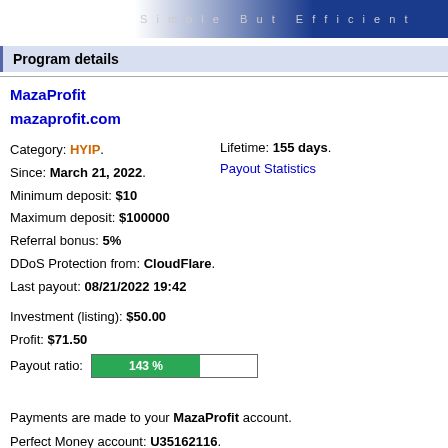Simple But Efficient
Program details
MazaProfit
mazaprofit.com
Lifetime: 155 days.
Payout Statistics
Category: HYIP.
Since: March 21, 2022.
Minimum deposit: $10
Maximum deposit: $100000
Referral bonus: 5%
DDoS Protection from: CloudFlare.
Last payout: 08/21/2022 19:42
Investment (listing): $50.00
Profit: $71.50
Payout ratio: 143 %
Payments are made to your MazaProfit account.
Perfect Money account: U35162116.